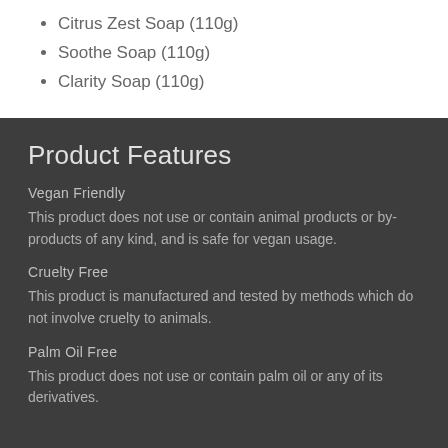Citrus Zest Soap (110g)
Soothe Soap (110g)
Clarity Soap (110g)
Product Features
Vegan Friendly
This product does not use or contain animal products or by-products of any kind, and is safe for vegan usage.
Cruelty Free
This product is manufactured and tested by methods which do not involve cruelty to animals.
Palm Oil Free
This product does not use or contain palm oil or any of its derivatives.